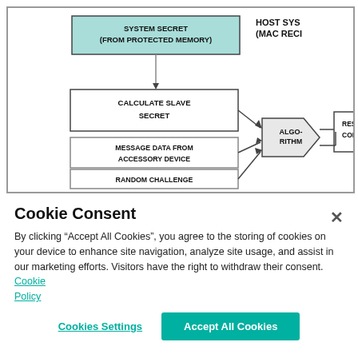[Figure (flowchart): Authentication flowchart showing: SYSTEM SECRET (FROM PROTECTED MEMORY) box (teal fill) feeds via arrow into CALCULATE SLAVE SECRET box. MESSAGE DATA FROM ACCESSORY DEVICE box and RANDOM CHALLENGE box also feed into an ALGORITHM pentagon shape. ALGORITHM feeds via arrow into RESULT COMPARISON box. HOST SYSTEM (MAC RECI...) label at top right.]
Cookie Consent
By clicking “Accept All Cookies”, you agree to the storing of cookies on your device to enhance site navigation, analyze site usage, and assist in our marketing efforts. Visitors have the right to withdraw their consent. Cookie Policy
Cookies Settings
Accept All Cookies